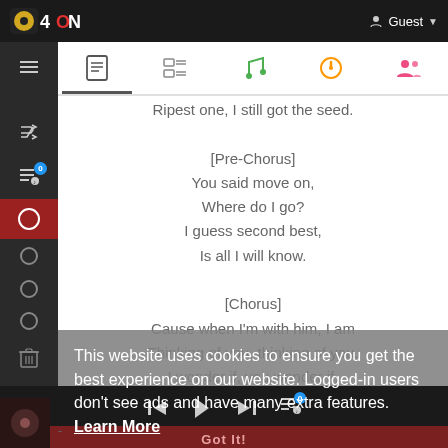O4ONE | Guest
Ripest one, I still got the seed.
[Pre-Chorus]
You said move on,
Where do I go?
I guess second best,
Is all I will know.
[Chorus]
Cause when I'm with him, I am
Thinking of you, thinking of you.
I wonder if, you wonder if,
If you were here doing what we do,
Spending the night?
Oh I wish that I,
This website uses cookies to ensure you get the best experience on our website. Logged-in users don't see ads and have many extra features. Learn More
Got It!